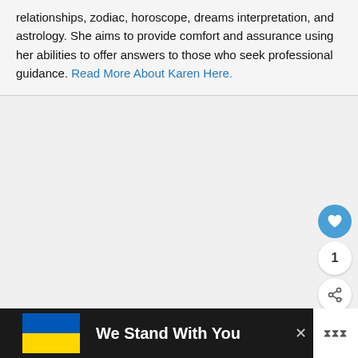relationships, zodiac, horoscope, dreams interpretation, and astrology. She aims to provide comfort and assurance using her abilities to offer answers to those who seek professional guidance. Read More About Karen Here.
[Figure (other): A blank gray content area with UI interaction buttons (heart/like button, count of 1, and share button) on the right side]
We Stand With You